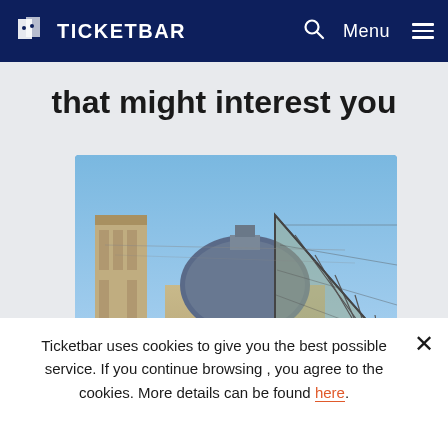TICKETBAR
that might interest you
[Figure (photo): Photograph of the Louvre Museum in Paris, showing the ornate classical facade with sculptures and the modern glass pyramid in the foreground under a blue sky.]
Ticketbar uses cookies to give you the best possible service. If you continue browsing , you agree to the cookies. More details can be found here.